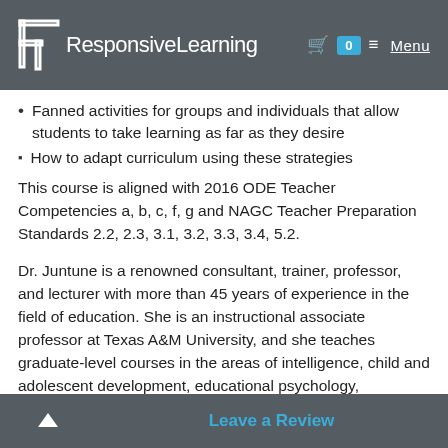ResponsiveLearning  [cart] 0  ≡ Menu
Fanned activities for groups and individuals that allow students to take learning as far as they desire
How to adapt curriculum using these strategies
This course is aligned with 2016 ODE Teacher Competencies a, b, c, f, g and NAGC Teacher Preparation Standards 2.2, 2.3, 3.1, 3.2, 3.3, 3.4, 5.2.
Dr. Juntune is a renowned consultant, trainer, professor, and lecturer with more than 45 years of experience in the field of education. She is an instructional associate professor at Texas A&M University, and she teaches graduate-level courses in the areas of intelligence, child and adolescent development, educational psychology, giftedness, and creativity. Dr. Juntune earned her master's degree in curriculum instruction from St. Cloud University and her Ph.D. in educ... from Texas A&M University.
^ Leave a Review